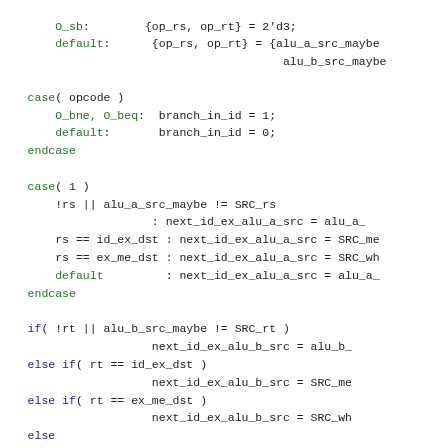[Figure (screenshot): SystemVerilog/Verilog hardware description language code snippet showing case statements and if-else constructs for ALU source selection and bypass logic]